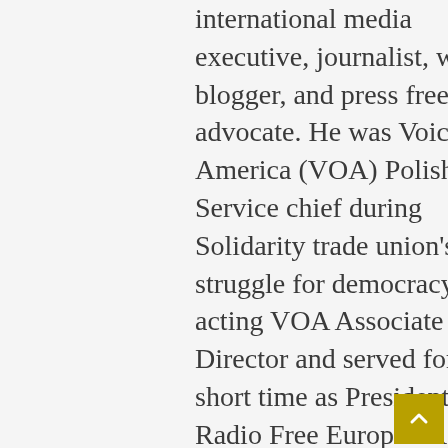international media executive, journalist, writer, blogger, and press freedom advocate. He was Voice of America (VOA) Polish Service chief during Solidarity trade union's struggle for democracy, acting VOA Associate Director and served for a short time as President of Radio Free Europe / Radio Liberty (RFE/RL).